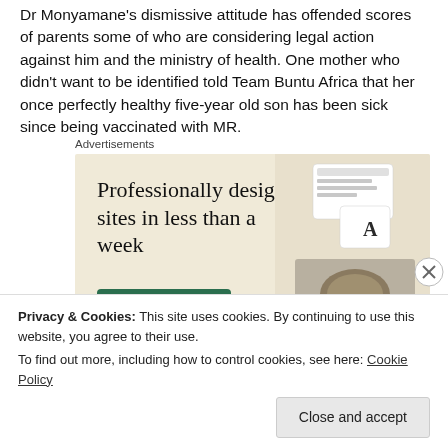Dr Monyamane's dismissive attitude has offended scores of parents some of who are considering legal action against him and the ministry of health. One mother who didn't want to be identified told Team Buntu Africa that her once perfectly healthy five-year old son has been sick since being vaccinated with MR.
[Figure (other): Advertisement banner: 'Professionally designed sites in less than a week' with an Explore options button and website screenshots on beige background]
Privacy & Cookies: This site uses cookies. By continuing to use this website, you agree to their use. To find out more, including how to control cookies, see here: Cookie Policy
Close and accept